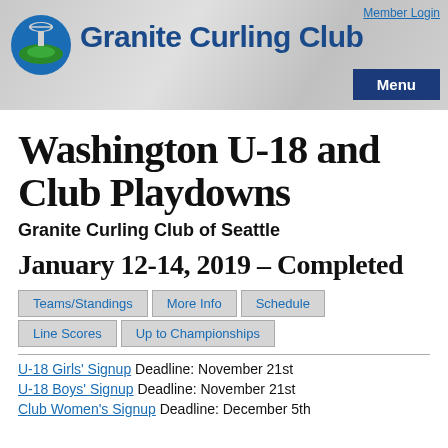Granite Curling Club | Member Login | Menu
Washington U-18 and Club Playdowns
Granite Curling Club of Seattle
January 12-14, 2019 – Completed
Teams/Standings
More Info
Schedule
Line Scores
Up to Championships
U-18 Girls' Signup Deadline: November 21st
U-18 Boys' Signup Deadline: November 21st
Club Women's Signup Deadline: December 5th